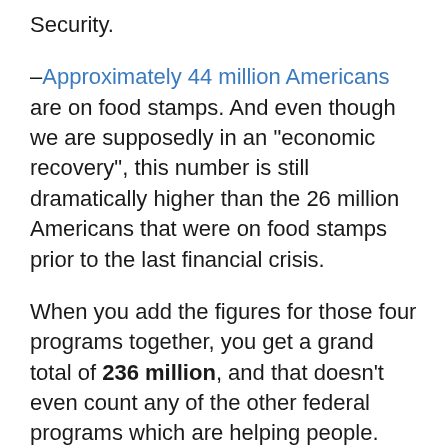Security.
–Approximately 44 million Americans are on food stamps.  And even though we are supposedly in an “economic recovery”, this number is still dramatically higher than the 26 million Americans that were on food stamps prior to the last financial crisis.
When you add the figures for those four programs together, you get a grand total of 236 million, and that doesn’t even count any of the other federal programs which are helping people.
Once again, there is overlap in enrollment between these various programs, but even accounting for that most experts believe that